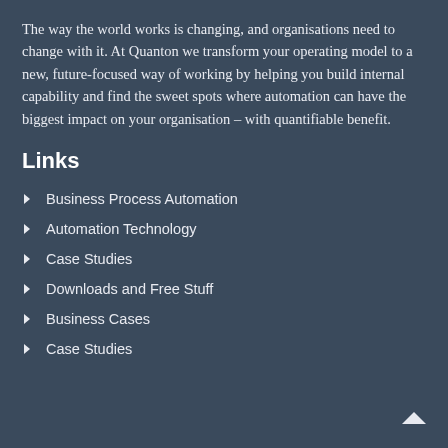The way the world works is changing, and organisations need to change with it. At Quanton we transform your operating model to a new, future-focused way of working by helping you build internal capability and find the sweet spots where automation can have the biggest impact on your organisation – with quantifiable benefit.
Links
Business Process Automation
Automation Technology
Case Studies
Downloads and Free Stuff
Business Cases
Case Studies